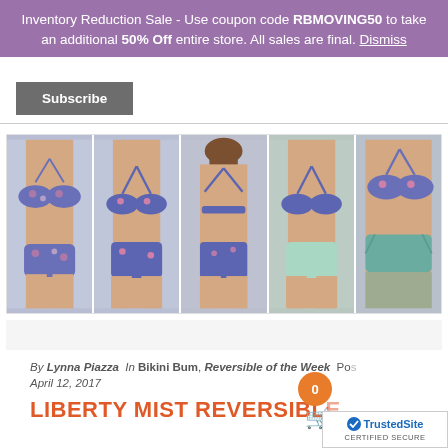Inventory Reduction Sale - Use coupon code RBMOVING50 to take an additional 50% Off entire store. All sales are final. Dismiss
Subscribe
[Figure (photo): Five side-by-side product photos of women's bikini swimwear in floral blue/purple print and solid mint/teal colorways, showing front and back views.]
By Lynna Piazza In Bikini Bum, Reversible of the Week Posted on April 12, 2017
LIBERTY MIST REVERSIBL…